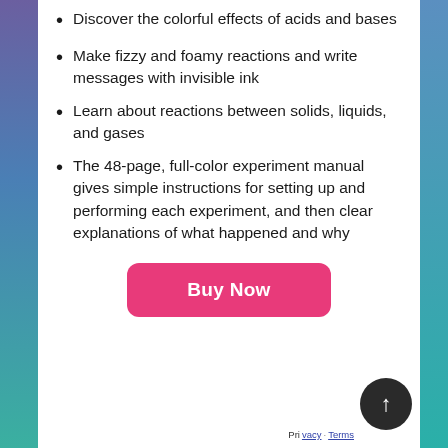Discover the colorful effects of acids and bases
Make fizzy and foamy reactions and write messages with invisible ink
Learn about reactions between solids, liquids, and gases
The 48-page, full-color experiment manual gives simple instructions for setting up and performing each experiment, and then clear explanations of what happened and why